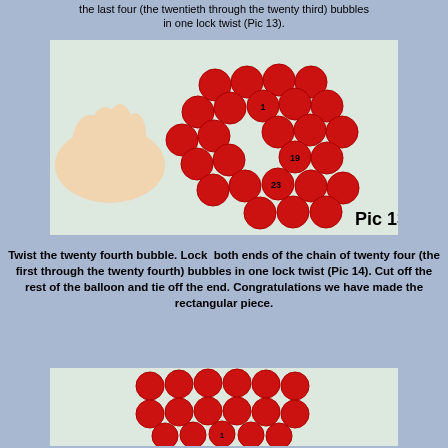the last four (the twentieth through the twenty third) bubbles in one lock twist (Pic 13).
[Figure (photo): A hand holding a rectangular arrangement of red balloons twisted together, with bubbles numbered 1, 19, and 23 visible. Labeled 'Pic 13'.]
Twist the twenty fourth bubble. Lock both ends of the chain of twenty four (the first through the twenty fourth) bubbles in one lock twist (Pic 14). Cut off the rest of the balloon and tie off the end. Congratulations we have made the rectangular piece.
[Figure (photo): A rectangular arrangement of red balloons twisted together, labeled 'Pic 14', with bubble number 1 visible at the bottom.]